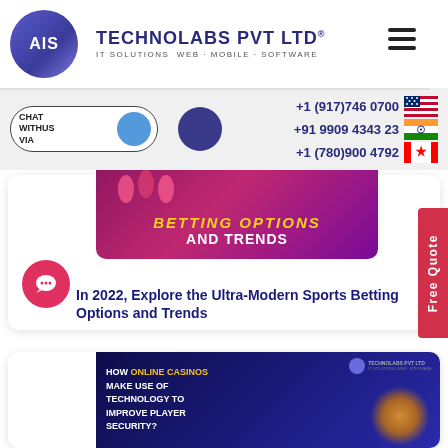[Figure (logo): AIS Technolabs Pvt Ltd logo with purple globe icon, company name and tagline 'IT Solutions Web · Mobile · Software']
+1 (917)746 0700
+91 9909 4343 23
+1 (780)900 4792
CHAT WITHUS VIA
[Figure (photo): Sports betting promotional image with text 'BETTING OPTIONS AND TRENDS' on a dark purple/pink background with animated sports figures]
In 2022, Explore the Ultra-Modern Sports Betting Options and Trends
[Figure (photo): How Online Casinos Make Use of Technology to Improve Player Security - dark blue promotional image with text and gaming imagery]
Free Quote